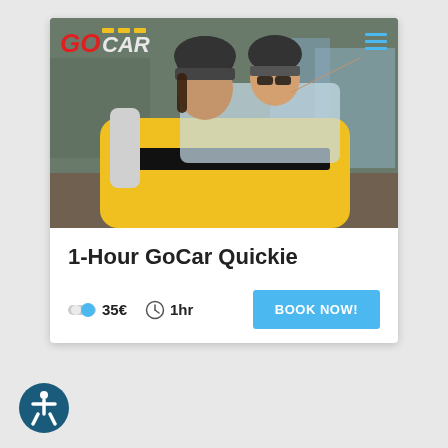[Figure (photo): Two women riding in a yellow GoCar vehicle on a city street, both wearing helmets, one pointing excitedly. GoCar logo visible in top left of photo with hamburger menu icon in top right.]
1-Hour GoCar Quickie
35€  1hr  BOOK NOW!
[Figure (logo): Circular accessibility/wheelchair icon in dark teal/navy blue]